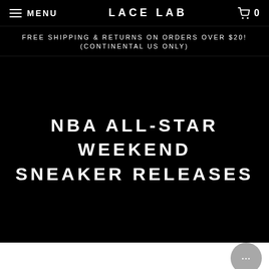MENU    LACE LAB    0
FREE SHIPPING & RETURNS ON ORDERS OVER $20! (CONTINENTAL US ONLY)
NBA ALL-STAR WEEKEND SNEAKER RELEASES